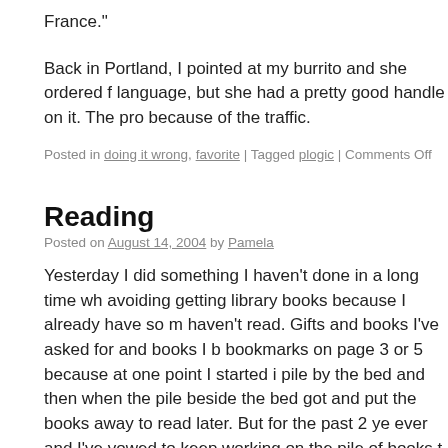France."
Back in Portland, I pointed at my burrito and she ordered f language, but she had a pretty good handle on it. The pro because of the traffic.
Posted in doing it wrong, favorite | Tagged plogic | Comments Off
Reading
Posted on August 14, 2004 by Pamela
Yesterday I did something I haven't done in a long time wh avoiding getting library books because I already have so m haven't read. Gifts and books I've asked for and books I b bookmarks on page 3 or 5 because at one point I started i pile by the bed and then when the pile beside the bed got and put the books away to read later. But for the past 2 ye ever and I've vowed to keep working on the pile of books t getting any smaller.